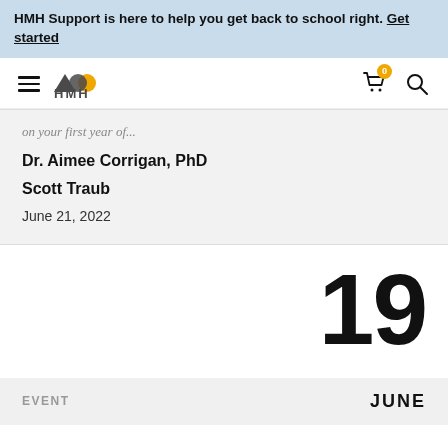HMH Support is here to help you get back to school right. Get started
[Figure (logo): HMH logo with hamburger menu, cart with badge showing 0, and search icon]
on your first year of...
Dr. Aimee Corrigan, PhD
Scott Traub
June 21, 2022
19
EVENT
JUNE